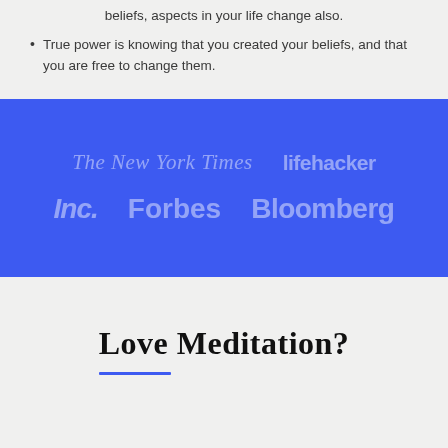beliefs, aspects in your life change also.
True power is knowing that you created your beliefs, and that you are free to change them.
[Figure (logo): Blue banner with media publication logos: The New York Times, lifehacker, Inc., Forbes, Bloomberg]
Love Meditation?